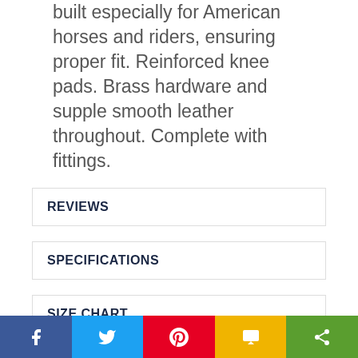built especially for American horses and riders, ensuring proper fit. Reinforced knee pads. Brass hardware and supple smooth leather throughout. Complete with fittings.
REVIEWS
SPECIFICATIONS
SIZE CHART
SHIPPING